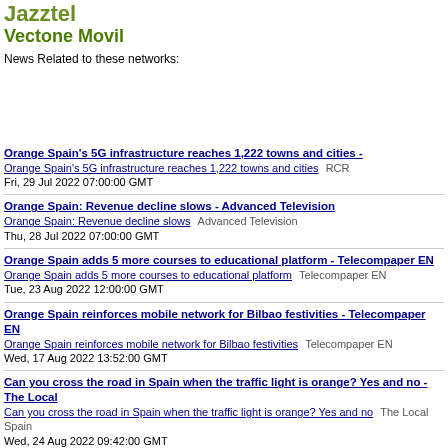Jazztel
Vectone Movil
News Related to these networks:
Orange Spain's 5G infrastructure reaches 1,222 towns and cities - ... | Orange Spain's 5G infrastructure reaches 1,222 towns and cities  RCR... | Fri, 29 Jul 2022 07:00:00 GMT
Orange Spain: Revenue decline slows - Advanced Television | Orange Spain: Revenue decline slows  Advanced Television | Thu, 28 Jul 2022 07:00:00 GMT
Orange Spain adds 5 more courses to educational platform - Telecompaper EN | Orange Spain adds 5 more courses to educational platform  Telecompaper EN | Tue, 23 Aug 2022 12:00:00 GMT
Orange Spain reinforces mobile network for Bilbao festivities - Telecompaper EN | Orange Spain reinforces mobile network for Bilbao festivities  Telecompaper EN | Wed, 17 Aug 2022 13:52:00 GMT
Can you cross the road in Spain when the traffic light is orange? Yes and no - The Local... | Can you cross the road in Spain when the traffic light is orange? Yes and no  The Local Spain... | Wed, 24 Aug 2022 09:42:00 GMT